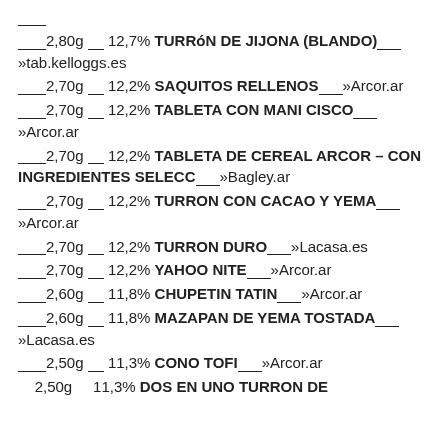___2,80g __ 12,7% TURRÓN DE JIJONA (BLANDO)___»tab.kelloggs.es
___2,70g __ 12,2% SAQUITOS RELLENOS___»Arcor.ar
___2,70g __ 12,2% TABLETA CON MANI CISCO___»Arcor.ar
___2,70g __ 12,2% TABLETA DE CEREAL ARCOR – CON INGREDIENTES SELECC___»Bagley.ar
___2,70g __ 12,2% TURRON CON CACAO Y YEMA___»Arcor.ar
___2,70g __ 12,2% TURRON DURO___»Lacasa.es
___2,70g __ 12,2% YAHOO NITE___»Arcor.ar
___2,60g __ 11,8% CHUPETIN TATIN___»Arcor.ar
___2,60g __ 11,8% MAZAPAN DE YEMA TOSTADA___»Lacasa.es
___2,50g __ 11,3% CONO TOFI___»Arcor.ar
2,50g   11,3% DOS EN UNO TURRON DE